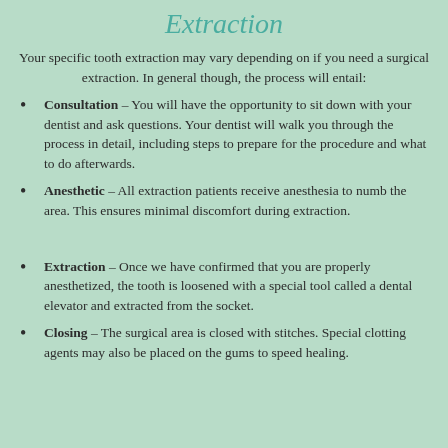Extraction
Your specific tooth extraction may vary depending on if you need a surgical extraction. In general though, the process will entail:
Consultation – You will have the opportunity to sit down with your dentist and ask questions. Your dentist will walk you through the process in detail, including steps to prepare for the procedure and what to do afterwards.
Anesthetic – All extraction patients receive anesthesia to numb the area. This ensures minimal discomfort during extraction.
Extraction – Once we have confirmed that you are properly anesthetized, the tooth is loosened with a special tool called a dental elevator and extracted from the socket.
Closing – The surgical area is closed with stitches. Special clotting agents may also be placed on the gums to speed healing.